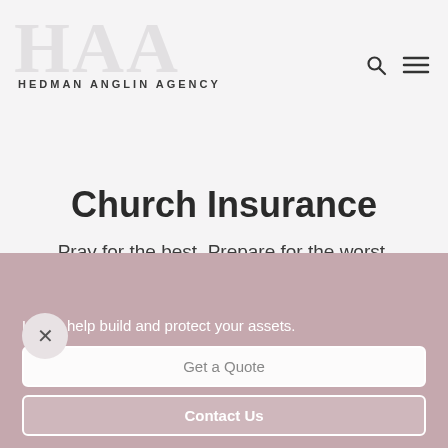HEDMAN ANGLIN AGENCY
Church Insurance
Pray for the best. Prepare for the worst.
Let us help build and protect your assets.
Get a Quote
Contact Us